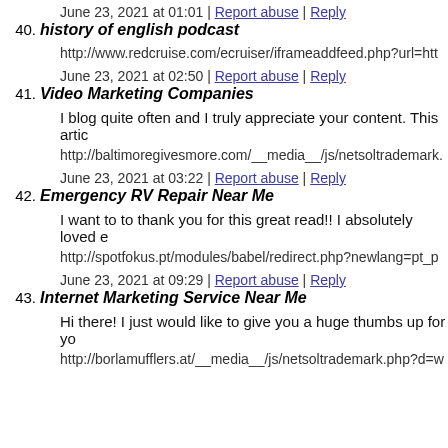June 23, 2021 at 01:01 | Report abuse | Reply
40. history of english podcast
http://www.redcruise.com/ecruiser/iframeaddfeed.php?url=http
June 23, 2021 at 02:50 | Report abuse | Reply
41. Video Marketing Companies
I blog quite often and I truly appreciate your content. This artic
http://baltimoregivesmore.com/__media__/js/netsoltrademark.
June 23, 2021 at 03:22 | Report abuse | Reply
42. Emergency RV Repair Near Me
I want to to thank you for this great read!! I absolutely loved e
http://spotfokus.pt/modules/babel/redirect.php?newlang=pt_pt
June 23, 2021 at 09:29 | Report abuse | Reply
43. Internet Marketing Service Near Me
Hi there! I just would like to give you a huge thumbs up for yo
http://borlamufflers.at/__media__/js/netsoltrademark.php?d=w